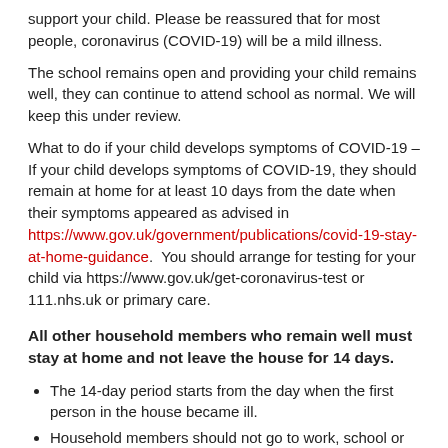support your child. Please be reassured that for most people, coronavirus (COVID-19) will be a mild illness.
The school remains open and providing your child remains well, they can continue to attend school as normal. We will keep this under review.
What to do if your child develops symptoms of COVID-19 – If your child develops symptoms of COVID-19, they should remain at home for at least 10 days from the date when their symptoms appeared as advised in https://www.gov.uk/government/publications/covid-19-stay-at-home-guidance. You should arrange for testing for your child via https://www.gov.uk/get-coronavirus-test or 111.nhs.uk or primary care.
All other household members who remain well must stay at home and not leave the house for 14 days.
The 14-day period starts from the day when the first person in the house became ill.
Household members should not go to work, school or public areas and exercise should be taken within the